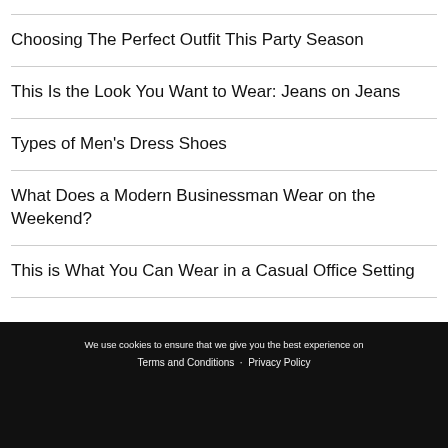Choosing The Perfect Outfit This Party Season
This Is the Look You Want to Wear: Jeans on Jeans
Types of Men's Dress Shoes
What Does a Modern Businessman Wear on the Weekend?
This is What You Can Wear in a Casual Office Setting
We use cookies to ensure that we give you the best experience on
Terms and Conditions · Privacy Policy